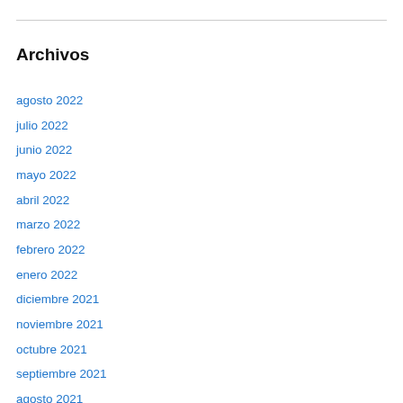Archivos
agosto 2022
julio 2022
junio 2022
mayo 2022
abril 2022
marzo 2022
febrero 2022
enero 2022
diciembre 2021
noviembre 2021
octubre 2021
septiembre 2021
agosto 2021
julio 2021
junio 2021
mayo 2021